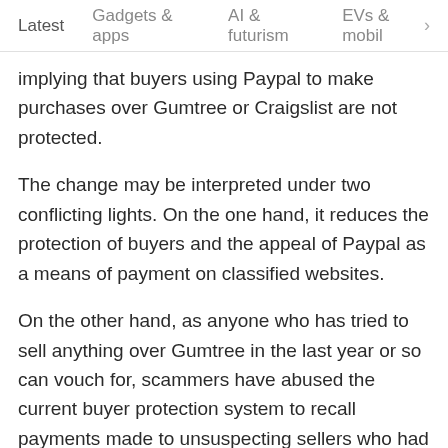Latest  Gadgets & apps  AI & futurism  EVs & mobil  >
implying that buyers using Paypal to make purchases over Gumtree or Craigslist are not protected.
The change may be interpreted under two conflicting lights. On the one hand, it reduces the protection of buyers and the appeal of Paypal as a means of payment on classified websites.
On the other hand, as anyone who has tried to sell anything over Gumtree in the last year or so can vouch for, scammers have abused the current buyer protection system to recall payments made to unsuspecting sellers who had shipped the goods to an address not registered in the buyer's Paypal